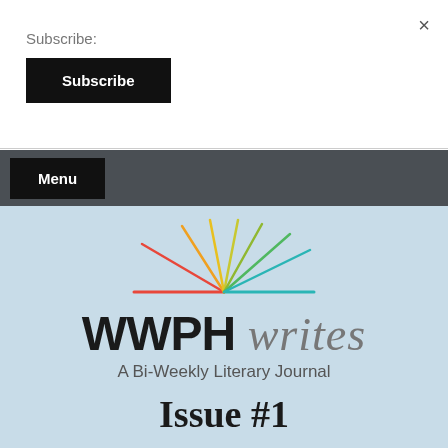Subscribe:
Subscribe
×
Menu
[Figure (logo): WWPH writes logo with colored rays/lines above an open book, text: WWPH writes — A Bi-Weekly Literary Journal]
Issue #1